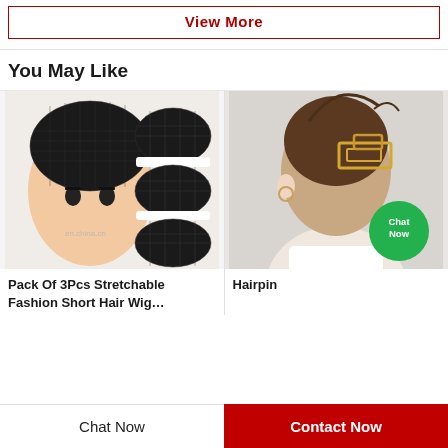View More
You May Like
[Figure (photo): Black mesh wig caps - Pack of 3 pieces shown on mannequin head and separately]
Pack Of 3Pcs Stretchable Fashion Short Hair Wig…
[Figure (photo): Woman with brown hair in updo secured with a gold rectangular hairpin, with green Chat Now badge overlay]
Hairpin
Chat Now
Contact Now